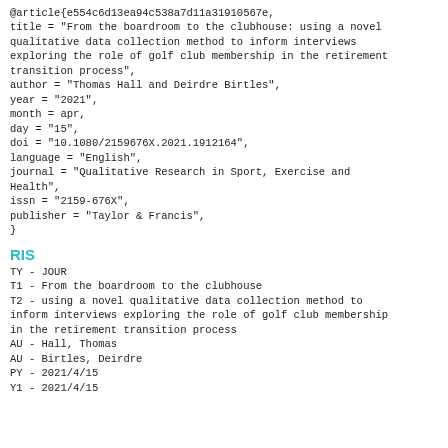@article{e554c6d13ea94c538a7d11a31910567e,
title = "From the boardroom to the clubhouse: using a novel qualitative data collection method to inform interviews exploring the role of golf club membership in the retirement transition process",
author = "Thomas Hall and Deirdre Birtles",
year = "2021",
month = apr,
day = "15",
doi = "10.1080/2159676X.2021.1912164",
language = "English",
journal = "Qualitative Research in Sport, Exercise and Health",
issn = "2159-676X",
publisher = "Taylor & Francis",
}
RIS
TY - JOUR
T1 - From the boardroom to the clubhouse
T2 - using a novel qualitative data collection method to inform interviews exploring the role of golf club membership in the retirement transition process
AU - Hall, Thomas
AU - Birtles, Deirdre
PY - 2021/4/15
Y1 - 2021/4/15